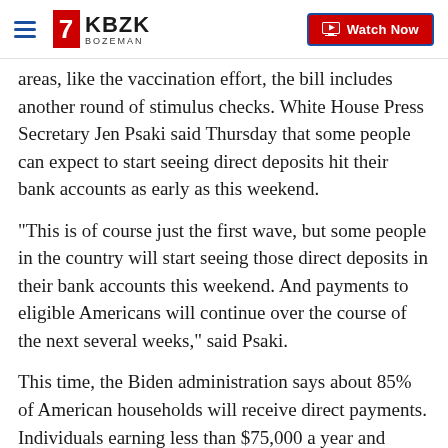KBZK BOZEMAN | Watch Now
areas, like the vaccination effort, the bill includes another round of stimulus checks. White House Press Secretary Jen Psaki said Thursday that some people can expect to start seeing direct deposits hit their bank accounts as early as this weekend.
"This is of course just the first wave, but some people in the country will start seeing those direct deposits in their bank accounts this weekend. And payments to eligible Americans will continue over the course of the next several weeks," said Psaki.
This time, the Biden administration says about 85% of American households will receive direct payments. Individuals earning less than $75,000 a year and